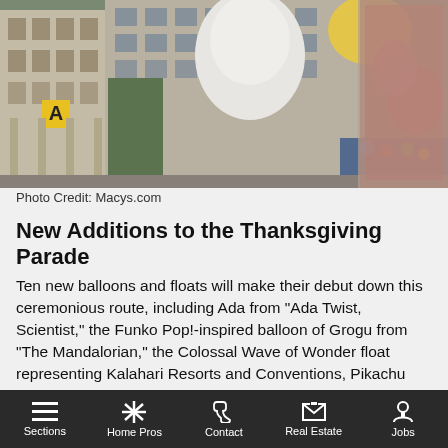[Figure (photo): Parade balloons floating above a street with buildings in the background, including a large white balloon character and colorful crowd.]
Photo Credit: Macys.com
New Additions to the Thanksgiving Parade
Ten new balloons and floats will make their debut down this ceremonious route, including Ada from "Ada Twist, Scientist," the Funko Pop!-inspired balloon of Grogu from "The Mandalorian," the Colossal Wave of Wonder float representing Kalahari Resorts and Conventions, Pikachu with friend Eevee from "Pokémon," the Celebration Gator float representing the Louisiana Office of Tourism, and in their
Sections | Home Pros | Contact | Real Estate | Jobs